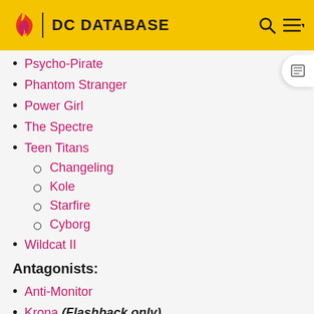DC DATABASE
Psycho-Pirate
Phantom Stranger
Power Girl
The Spectre
Teen Titans
Changeling
Kole
Starfire
Cyborg
Wildcat II
Antagonists:
Anti-Monitor
Krona (Flashback only)
Brainiac (Cameo)